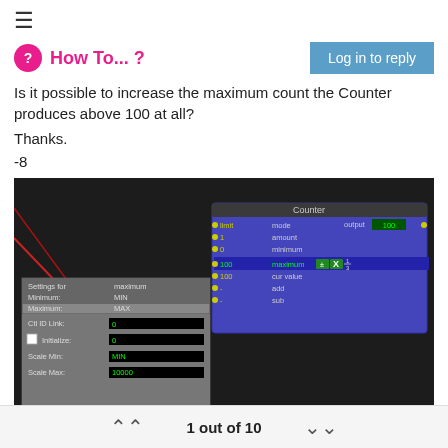☰
How To... ?
Is it possible to increase the maximum count the Counter produces above 100 at all?
Thanks.
-8
[Figure (screenshot): Screenshot of a node-based programming interface showing a Counter node with settings panel. The Counter node shows: limit mode output 100, 1 amount, 0 minimum, 100 maximum (selected/highlighted), 100 cur value, - add, - sub. A settings panel on the left shows Settings for maximum, Minimum: MIN, Maximum: MAX, Ctl ID Link: 0, Initialize: 0, Scale Min: MIN, Scale Max: 10000.]
Analysis: http://post.scriptum.ru | Synthesis: http://onewaytheater.us
1 out of 10